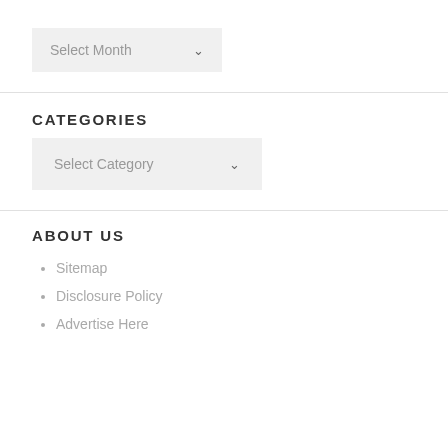Select Month
CATEGORIES
Select Category
ABOUT US
Sitemap
Disclosure Policy
Advertise Here